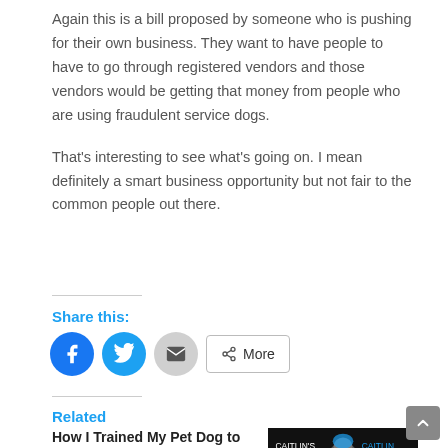Again this is a bill proposed by someone who is pushing for their own business. They want to have people to have to go through registered vendors and those vendors would be getting that money from people who are using fraudulent service dogs.
That's interesting to see what's going on. I mean definitely a smart business opportunity but not fair to the common people out there.
Share this:
Related
How I Trained My Pet Dog to Be My Service Dog
[Figure (photo): Photo of a person with blue hair, partially visible, with 'CAITLIN'S' text overlay]